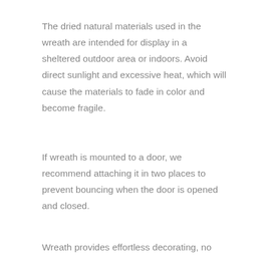The dried natural materials used in the wreath are intended for display in a sheltered outdoor area or indoors. Avoid direct sunlight and excessive heat, which will cause the materials to fade in color and become fragile.
If wreath is mounted to a door, we recommend attaching it in two places to prevent bouncing when the door is opened and closed.
Wreath provides effortless decorating, no